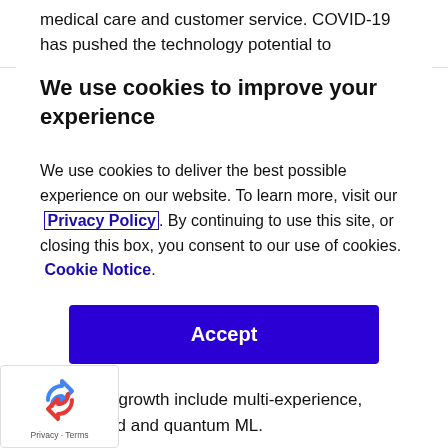medical care and customer service. COVID-19 has pushed the technology potential to
We use cookies to improve your experience
We use cookies to deliver the best possible experience on our website. To learn more, visit our Privacy Policy. By continuing to use this site, or closing this box, you consent to our use of cookies.  Cookie Notice.
Accept
Other emerging technologies that fall under celerating growth include multi-experience, iustry cloud and quantum ML.